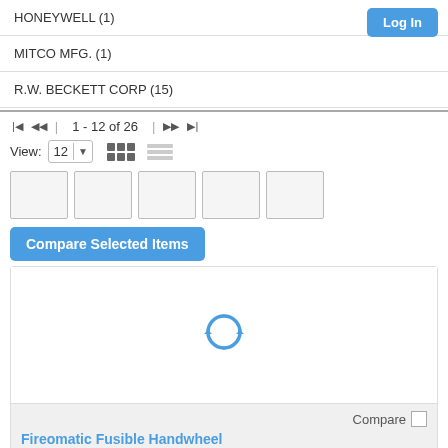HONEYWELL (1)
MITCO MFG. (1)
R.W. BECKETT CORP (15)
1 - 12 of 26
View: 12
[Figure (screenshot): Compare Selected Items button and product thumbnail placeholders with a loading spinner and product card for Fireomatic Fusible Handwheel]
Compare Selected Items
Compare
Fireomatic Fusible Handwheel